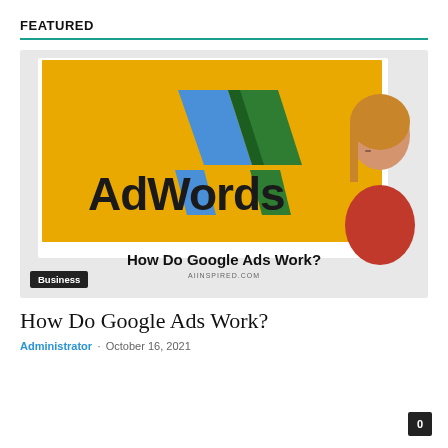FEATURED
[Figure (illustration): Google AdWords logo on yellow background with woman thinking in red shirt. Text reads: How Do Google Ads Work? AIINSPIRED.COM]
Business
How Do Google Ads Work?
Administrator · October 16, 2021
0